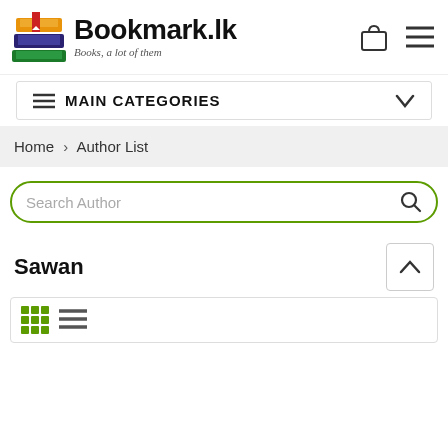[Figure (logo): Bookmark.lk logo with stacked books illustration and text 'Books, a lot of them']
MAIN CATEGORIES
Home > Author List
Search Author
Sawan